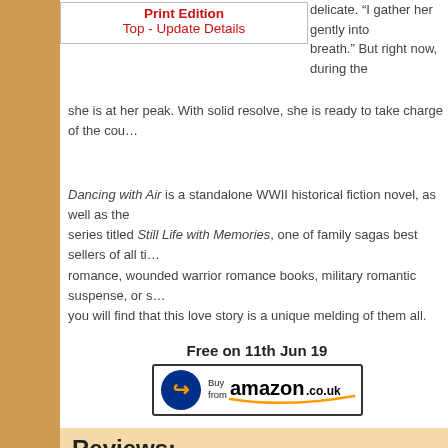Print Edition
Top - Update Details
delicate. “I gather her gently into… breath.” But right now, during the…
she is at her peak. With solid resolve, she is ready to take charge of the cou…
Dancing with Air is a standalone WWII historical fiction novel, as well as the series titled Still Life with Memories, one of family sagas best sellers of all ti… romance, wounded warrior romance books, military romantic suspense, or s… you will find that this love story is a unique melding of them all.
Free on 11th Jun 19
[Figure (other): Amazon UK Buy button]
Reviews:
No reviews yet.
Top - Update Details
Third Party Reviews:
No reviews yet. Why not link one?